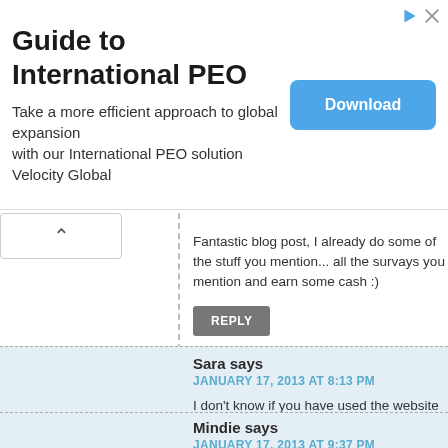[Figure (other): Advertisement banner for 'Guide to International PEO' with Download button]
Fantastic blog post, I already do some of the stuff you mention... all the survays you mention and earn some cash :)
REPLY
Sara says
JANUARY 17, 2013 AT 8:13 PM
I don't know if you have used the website mypoints.com....I lo...
REPLY
Mindie says
JANUARY 17, 2013 AT 9:37 PM
These are some great ideas. I would love to let everyone kno...